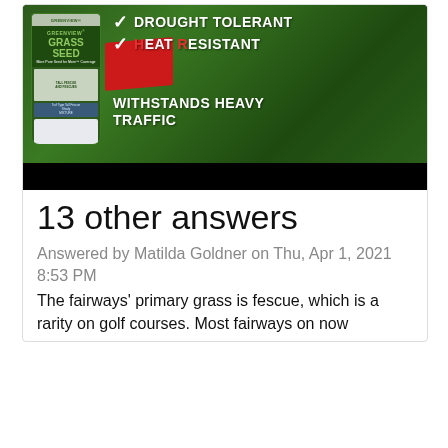[Figure (photo): Advertisement image for GreenView Grass Seed product. Shows a bag of GreenView Grass Seed (Tall Fescue Shady Mixture) against a green lawn background. White checkmarks next to text: DROUGHT TOLERANT, HEAT RESISTANT (with red stripe accent), WITHSTANDS HEAVY TRAFFIC. Bottom portion has a black bar.]
13 other answers
Answered by Matilda Goldner on Thu, Apr 1, 2021 8:53 PM
The fairways' primary grass is fescue, which is a rarity on golf courses. Most fairways on now